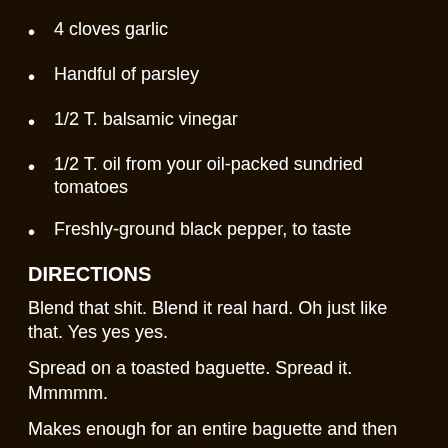4 cloves garlic
Handful of parsley
1/2 T. balsamic vinegar
1/2 T. oil from your oil-packed sundried tomatoes
Freshly-ground black pepper, to taste
DIRECTIONS
Blend that shit. Blend it real hard. Oh just like that. Yes yes yes.
Spread on a toasted baguette. Spread it. Mmmmm.
Makes enough for an entire baguette and then some.